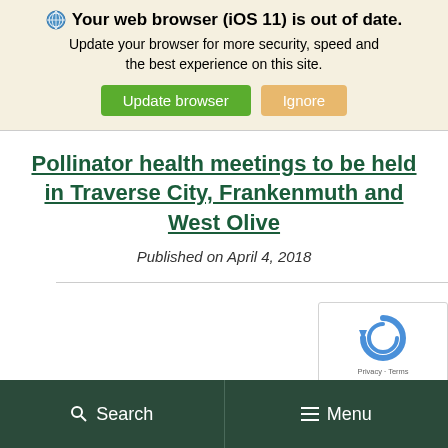Your web browser (iOS 11) is out of date. Update your browser for more security, speed and the best experience on this site. Update browser | Ignore
Pollinator health meetings to be held in Traverse City, Frankenmuth and West Olive
Published on April 4, 2018
[Figure (other): reCAPTCHA widget showing a recycling-style arrow icon with Privacy and Terms links]
Search  Menu